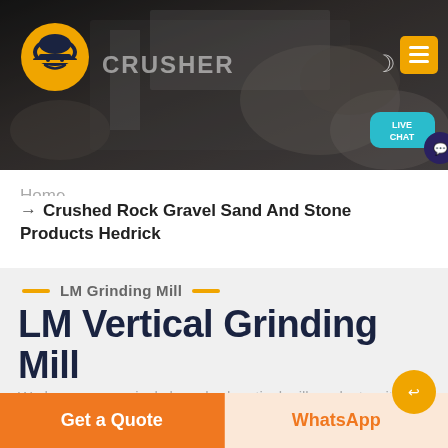[Figure (screenshot): Website header banner with dark rock/stone background, construction site machinery visible, orange/yellow logo on left, CRUSHER text, moon icon and yellow hamburger menu on right, Live Chat bubble bottom right]
Home
→ Crushed Rock Gravel Sand And Stone Products Hedrick
LM Grinding Mill
LM Vertical Grinding Mill
We have successively launched vertical mill products with independent intellectual property rights. Product Features